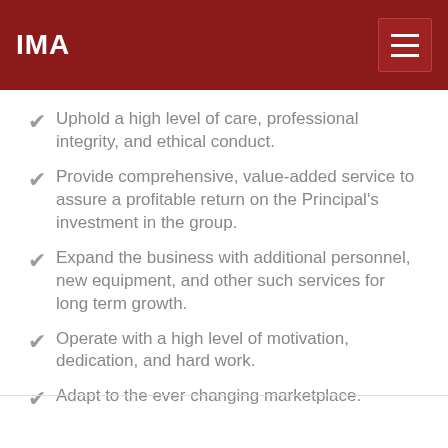IMA
Uphold a high level of care, professional integrity, and ethical conduct.
Provide comprehensive, value-added service to assure a profitable return on the Principal's investment in the group.
Expand the business with additional personnel, new equipment, and other such services for long term growth.
Operate with a high level of motivation, dedication, and hard work.
Adapt to the ever changing marketplace.